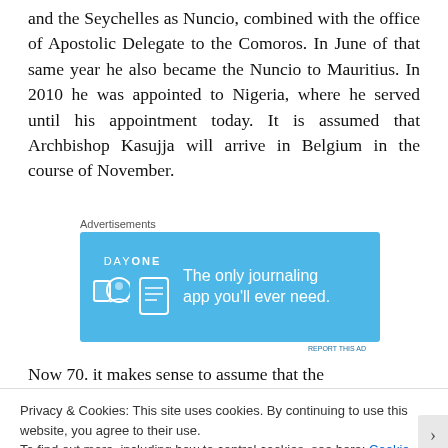and the Seychelles as Nuncio, combined with the office of Apostolic Delegate to the Comoros. In June of that same year he also became the Nuncio to Mauritius. In 2010 he was appointed to Nigeria, where he served until his appointment today. It is assumed that Archbishop Kasujja will arrive in Belgium in the course of November.
[Figure (infographic): Advertisement banner for Day One journaling app with blue background, icons, and text 'The only journaling app you'll ever need.']
Now 70. it makes sense to assume that the
Privacy & Cookies: This site uses cookies. By continuing to use this website, you agree to their use.
To find out more, including how to control cookies, see here: Cookie Policy